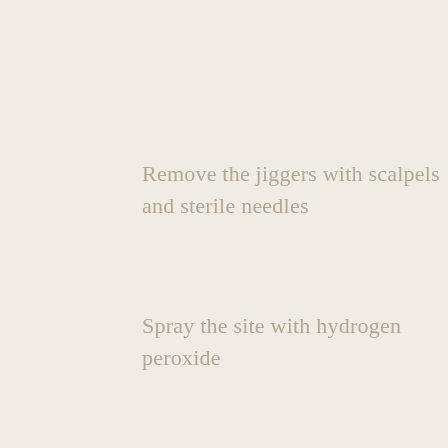Remove the jiggers with scalpels and sterile needles
Spray the site with hydrogen peroxide